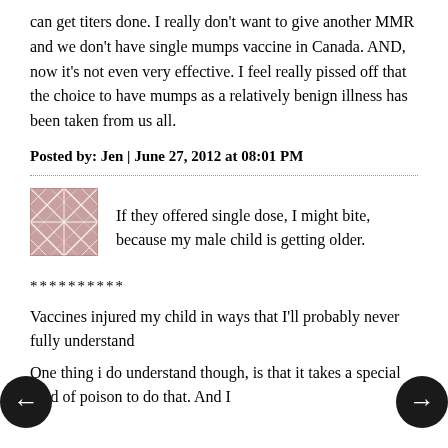can get titers done. I really don't want to give another MMR and we don't have single mumps vaccine in Canada. AND, now it's not even very effective. I feel really pissed off that the choice to have mumps as a relatively benign illness has been taken from us all.
Posted by: Jen | June 27, 2012 at 08:01 PM
[Figure (illustration): Decorative avatar image — pink/red fractal or abstract pattern on white background]
If they offered single dose, I might bite, because my male child is getting older.
**********
Vaccines injured my child in ways that I'll probably never fully understand
One thing i do understand though, is that it takes a special kind of poison to do that. And I